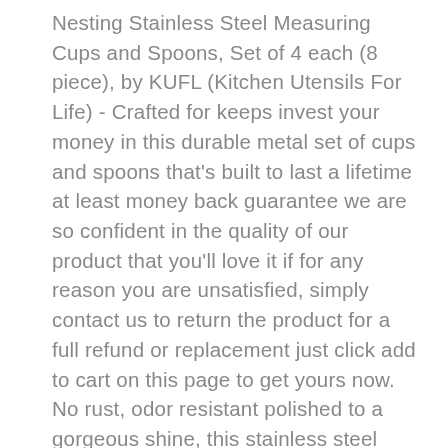Nesting Stainless Steel Measuring Cups and Spoons, Set of 4 each (8 piece), by KUFL (Kitchen Utensils For Life) - Crafted for keeps invest your money in this durable metal set of cups and spoons that's built to last a lifetime at least money back guarantee we are so confident in the quality of our product that you'll love it if for any reason you are unsatisfied, simply contact us to return the product for a full refund or replacement just click add to cart on this page to get yours now. No rust, odor resistant polished to a gorgeous shine, this stainless steel measuring cups and spoons set resists rust & corrosion. No stress, no mess your measuring set will effortlessly fill all your cooking and baking needs odor resistant. A premium grade of stainless steel typically used for the high-end premium kitchen utensils. Easy to store each measuring cups and spoons set nests for space-saving storage.